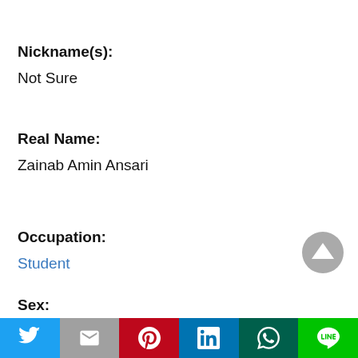Nickname(s):
Not Sure
Real Name:
Zainab Amin Ansari
Occupation:
Student
Sex:
Female
[Figure (other): Social sharing bar with Twitter, Gmail, Pinterest, LinkedIn, WhatsApp, and LINE buttons]